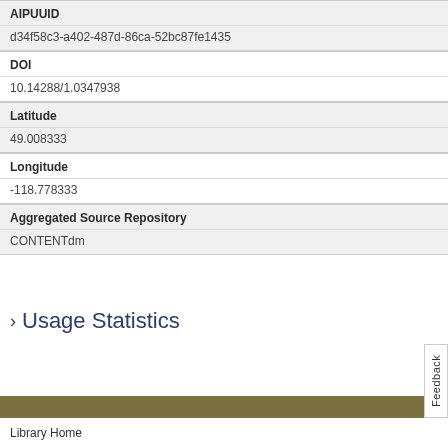| Field | Value |
| --- | --- |
| AIPUUID | d34f58c3-a402-487d-86ca-52bc87fe1435 |
| DOI | 10.14288/1.0347938 |
| Latitude | 49.008333 |
| Longitude | -118.778333 |
| Aggregated Source Repository | CONTENTdm |
> Usage Statistics
Library Home